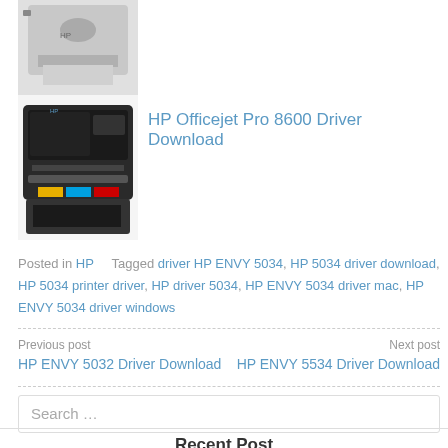[Figure (photo): HP laser printer, partially visible at top]
[Figure (photo): HP Officejet Pro 8600 all-in-one printer, black, shown with colorful ink cartridges visible]
HP Officejet Pro 8600 Driver Download
Posted in HP   Tagged driver HP ENVY 5034, HP 5034 driver download, HP 5034 printer driver, HP driver 5034, HP ENVY 5034 driver mac, HP ENVY 5034 driver windows
Previous post HP ENVY 5032 Driver Download
Next post HP ENVY 5534 Driver Download
Search …
Recent Post